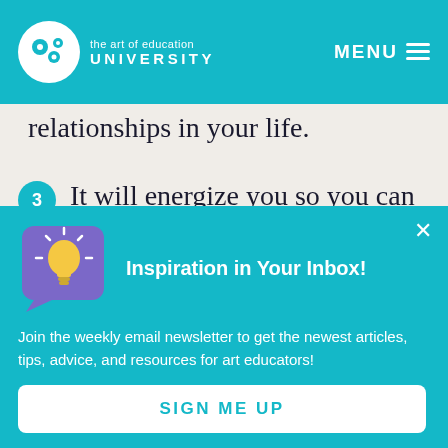the art of education UNIVERSITY | MENU
relationships in your life.
3 It will energize you so you can be the best version of yourself.
4 It will help you focus your priorities and
[Figure (illustration): Light bulb icon in a purple speech bubble on teal background]
Inspiration in Your Inbox!
Join the weekly email newsletter to get the newest articles, tips, advice, and resources for art educators!
SIGN ME UP